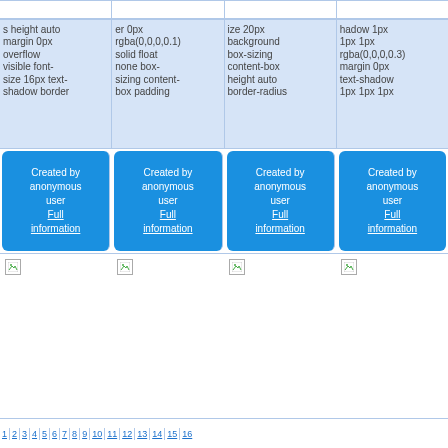s height auto margin 0px overflow visible font-size 16px text-shadow border
er 0px rgba(0,0,0,0.1) solid float none box-sizing content-box padding
ize 20px background box-sizing content-box height auto border-radius
hadow 1px 1px 1px rgba(0,0,0,0.3) margin 0px text-shadow 1px 1px 1px
Created by anonymous user Full information
Created by anonymous user Full information
Created by anonymous user Full information
Created by anonymous user Full information
[Figure (other): Broken image placeholder 1]
[Figure (other): Broken image placeholder 2]
[Figure (other): Broken image placeholder 3]
[Figure (other): Broken image placeholder 4]
1 2 3 4 5 6 7 8 9 10 11 12 13 14 15 16